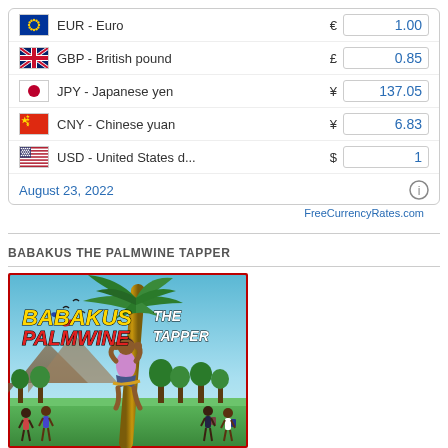| Flag | Currency | Symbol | Value |
| --- | --- | --- | --- |
| EUR flag | EUR - Euro | € | 1.00 |
| GBP flag | GBP - British pound | £ | 0.85 |
| JPY flag | JPY - Japanese yen | ¥ | 137.05 |
| CNY flag | CNY - Chinese yuan | ¥ | 6.83 |
| USD flag | USD - United States d... | $ | 1 |
August 23, 2022
FreeCurrencyRates.com
BABAKUS THE PALMWINE TAPPER
[Figure (illustration): Book cover for 'Babakus the Palmwine Tapper' showing a person climbing a palm tree against a blue sky background, with small figures of children at the bottom and birds in the sky.]